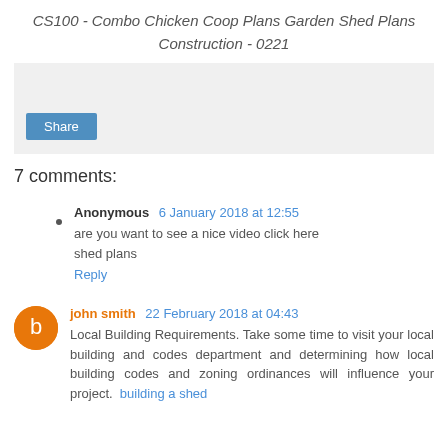CS100 - Combo Chicken Coop Plans Garden Shed Plans Construction - 0221
[Figure (other): Gray share box with a blue Share button]
7 comments:
Anonymous 6 January 2018 at 12:55
are you want to see a nice video click here
shed plans
Reply
john smith 22 February 2018 at 04:43
Local Building Requirements. Take some time to visit your local building and codes department and determining how local building codes and zoning ordinances will influence your project. building a shed